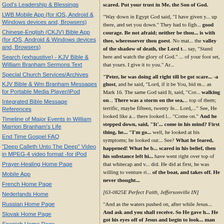God's Leadership & Blessings
LWB Mobile App (for iOS, Android & Windows devices and, Browsers)
Chinese-English (CKJV) Bible App (for iOS, Android & Windows devices and, Browsers)
Search (exhaustive) - KJV Bible & William Branham Sermons Text
Special Church Services/Archives
KJV Bible & Wm Branham Messages for Portable Media Player/iPod
Integrated Bible Message References
Timeline of Major Events in William Marrion Branham's Life
End Time Gospel FAQ
"Deep Calleth Unto The Deep" Video in MPEG-4 video format -for iPod
Prayer-Healing Home Page
Mobile App
French Home Page
Nederlands Home
Russian Home Page
Slovak Home Page
Spanish Home Page
scared. Put your trust in Me, the Son of God.
"Way down in Egypt God said, "I have given you up there, and set you down." They had to fight. Be of good courage. Be not afraid; neither be thou, for I is with thee, wheresoever thou goest. No mat... the valley of the shadow of death, the Lord t... say, "Stand here and watch the glory of God." of your foot set, that yours. I give it to you." Ar...
"Peter, he was doing all right till be got scare... -a ghost, and he said, "Lord, if it be You, bid m... as Mark 16. The same God said It, said, "Cor... walking on... There was a storm on the sea,... top of them; terrific, maybe fifteen, twenty fe... Lord,..." See, He looked like a... there looked l... "Come on." And he stepped down, said, "It'... come in his mind? First thing, he... "I'm go... well, he looked at his symptoms; he looked out... See? What he feared, happened! What he b... scared in his belief, then his substance left hi... have went right over top of that whitecap and v... did. He did at first, he was willing to venture ri... of the boat, and takes off. He never thought...
[63-0825E Perfect Faith, Jeffersonville IN]
"And as the waters pushed on, after while Jesus... And ask and you shall receive. So He gave h... He got his eyes off of Jesus and begin to look... man that will look at his affliction after bein... promise Giver, the Lord Jesus Christ. Keep...